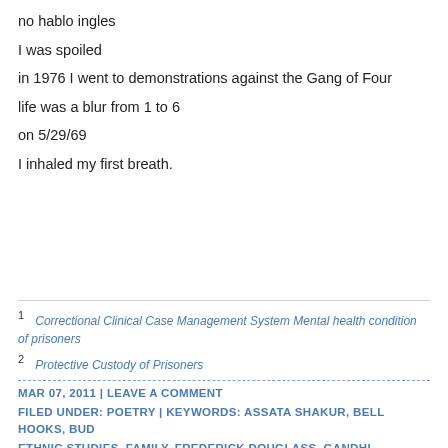no hablo ingles
I was spoiled
in 1976 I went to demonstrations against the Gang of Four
life was a blur from 1 to 6
on 5/29/69
I inhaled my first breath.
1 Correctional Clinical Case Management System Mental health condition of prisoners
2 Protective Custody of Prisoners
MAR 07, 2011 | LEAVE A COMMENT
FILED UNDER: POETRY | KEYWORDS: ASSATA SHAKUR, BELL HOOKS, BUD ETHNIC STUDIES, FAMILY, FREDERICK DOUGLASS, GANDHI, GEORGE JACK MAURICE CORNFORTH, MUMIA ABU-JAMAL, PAROLE, PAULO FREIRE, PRISC LIFE, SAN QUENTIN, YURI KOCHIYAMA
NEW YEAR AT THE Q